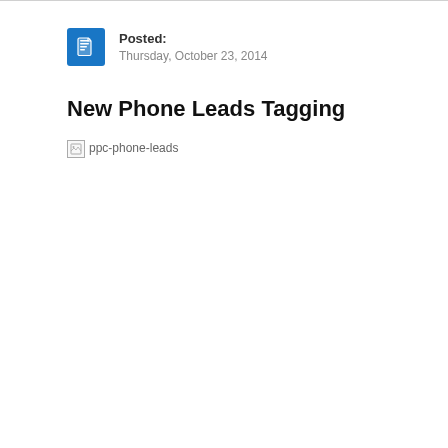Posted: Thursday, October 23, 2014
New Phone Leads Tagging
[Figure (other): Broken image placeholder labeled ppc-phone-leads]